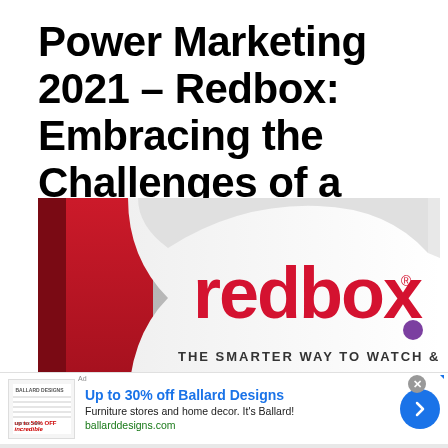Power Marketing 2021 – Redbox: Embracing the Challenges of a Turbulent Year
[Figure (photo): Photo of a Redbox kiosk showing the Redbox logo in red text on white background with the tagline 'THE SMARTER WAY TO WATCH & PLAY']
[Figure (screenshot): Advertisement banner for Ballard Designs: 'Up to 30% off Ballard Designs — Furniture stores and home decor. It's Ballard! — ballarddesigns.com' with close button and forward arrow]